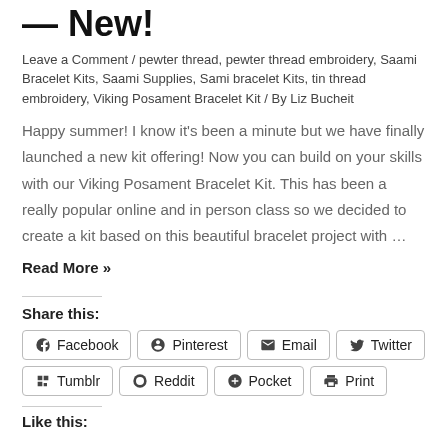— New!
Leave a Comment / pewter thread, pewter thread embroidery, Saami Bracelet Kits, Saami Supplies, Sami bracelet Kits, tin thread embroidery, Viking Posament Bracelet Kit / By Liz Bucheit
Happy summer! I know it's been a minute but we have finally launched a new kit offering! Now you can build on your skills with our Viking Posament Bracelet Kit. This has been a really popular online and in person class so we decided to create a kit based on this beautiful bracelet project with …
Read More »
Share this:
Facebook  Pinterest  Email  Twitter  Tumblr  Reddit  Pocket  Print
Like this: